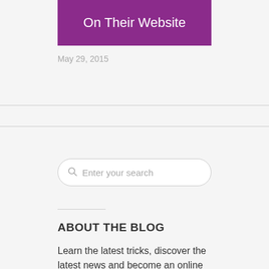On Their Website
May 29, 2015
[Figure (screenshot): Search input box with placeholder text 'Enter your search' and a search icon]
ABOUT THE BLOG
Learn the latest tricks, discover the latest news and become an online